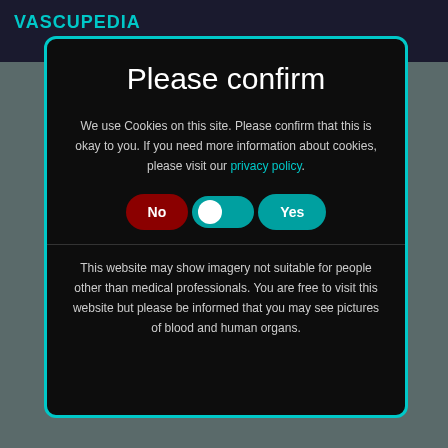VASCUPEDIA
Please confirm
We use Cookies on this site. Please confirm that this is okay to you. If you need more information about cookies, please visit our privacy policy.
[Figure (infographic): Toggle switch UI with 'No' button on left (dark red), toggle knob in middle, and 'Yes' button on right (teal)]
This website may show imagery not suitable for people other than medical professionals. You are free to visit this website but please be informed that you may see pictures of blood and human organs.